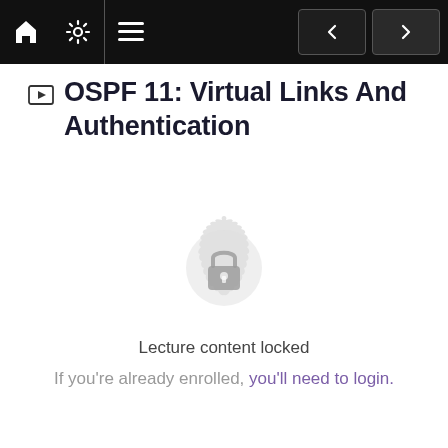Navigation bar with home, settings, menu icons and prev/next buttons
OSPF 11: Virtual Links And Authentication
[Figure (illustration): A circular lock icon on a decorative mandala-style grey badge, indicating locked content]
Lecture content locked
If you're already enrolled, you'll need to login.